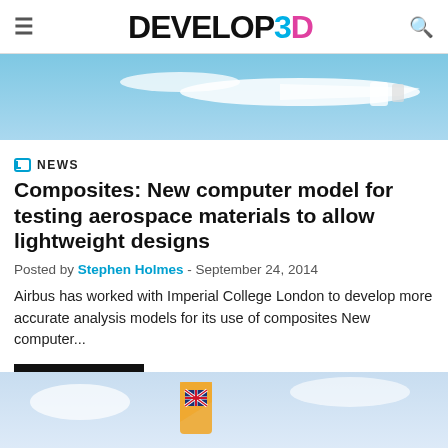DEVELOP3D
[Figure (photo): Aerial view of white aircraft against blue sky]
NEWS
Composites: New computer model for testing aerospace materials to allow lightweight designs
Posted by Stephen Holmes - September 24, 2014
Airbus has worked with Imperial College London to develop more accurate analysis models for its use of composites New computer...
Read More
[Figure (photo): Tail section of aircraft with British flag livery against cloudy sky]